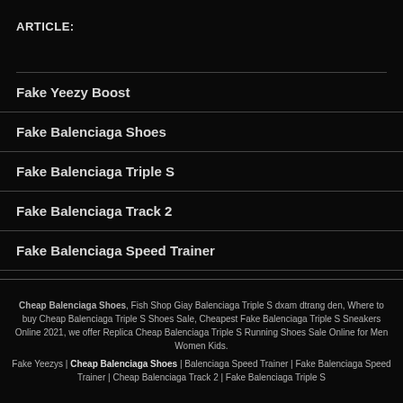ARTICLE:
Fake Yeezy Boost
Fake Balenciaga Shoes
Fake Balenciaga Triple S
Fake Balenciaga Track 2
Fake Balenciaga Speed Trainer
Cheap Balenciaga Shoes, Fish Shop Giay Balenciaga Triple S dxam dtrang den, Where to buy Cheap Balenciaga Triple S Shoes Sale, Cheapest Fake Balenciaga Triple S Sneakers Online 2021, we offer Replica Cheap Balenciaga Triple S Running Shoes Sale Online for Men Women Kids.
Fake Yeezys | Cheap Balenciaga Shoes | Balenciaga Speed Trainer | Fake Balenciaga Speed Trainer | Cheap Balenciaga Track 2 | Fake Balenciaga Triple S